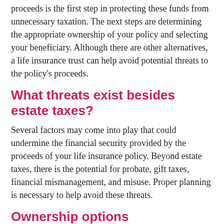proceeds is the first step in protecting these funds from unnecessary taxation. The next steps are determining the appropriate ownership of your policy and selecting your beneficiary. Although there are other alternatives, a life insurance trust can help avoid potential threats to the policy's proceeds.
What threats exist besides estate taxes?
Several factors may come into play that could undermine the financial security provided by the proceeds of your life insurance policy. Beyond estate taxes, there is the potential for probate, gift taxes, financial mismanagement, and misuse. Proper planning is necessary to help avoid these threats.
Ownership options
Other than owning the insurance yourself, there are three practical options for the ownership of your life insurance. However, be aware that a taxable gift from the owner to the beneficiary may result when the owner, the beneficiary, and the insured are all different parties. To reduce the threat of gift